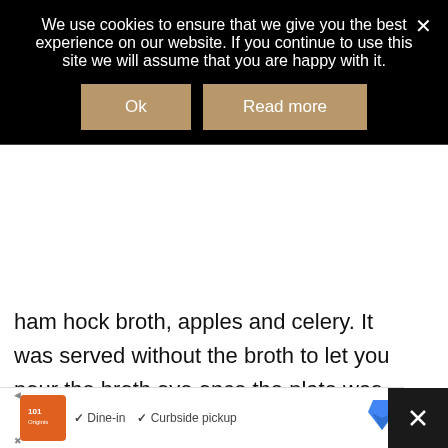We use cookies to ensure that we give you the best experience on our website. If you continue to use this site we will assume that you are happy with it.
Ok
Read more
ham hock broth, apples and celery. It was served without the broth to let you pour the broth ove once the plate was in front of you and it was a really lovely starter.
[Figure (photo): Close-up of a dish served on a round plate with green vegetables in a broth, photographed from above on a wooden surface]
WHAT'S NEXT → A Midweek Break at...
✓ Dine-in   ✓ Curbside pickup